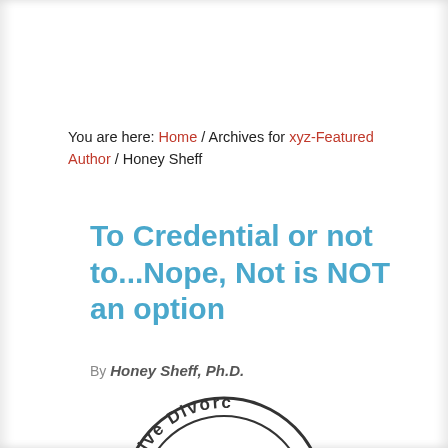You are here: Home / Archives for xyz-Featured Author / Honey Sheff
To Credential or not to...Nope, Not is NOT an option
By Honey Sheff, Ph.D.
[Figure (logo): Circular logo partially visible showing text 'orative Divorc' around the edge — likely 'Collaborative Divorce' seal/logo with a scales of justice icon in center]